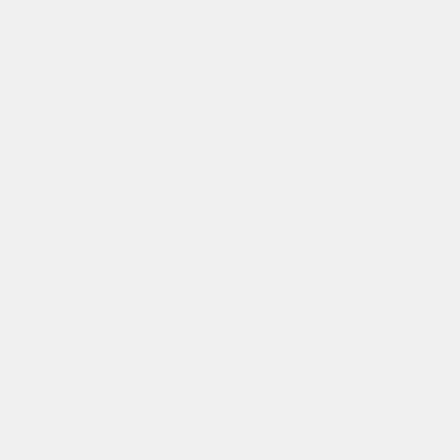one of the solution digital, in outdoor p specializ printing, outdoor/i and man
Visit our website t information https://w or start s at https://st
Edit personal data
NTP users are strongly urged to